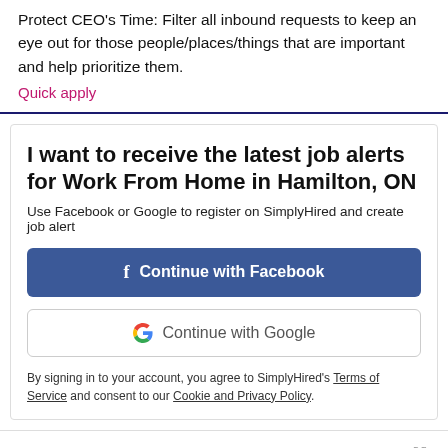Protect CEO's Time: Filter all inbound requests to keep an eye out for those people/places/things that are important and help prioritize them.
Quick apply
I want to receive the latest job alerts for Work From Home in Hamilton, ON
Use Facebook or Google to register on SimplyHired and create job alert
Continue with Facebook
Continue with Google
By signing in to your account, you agree to SimplyHired's Terms of Service and consent to our Cookie and Privacy Policy.
Housing Navigator